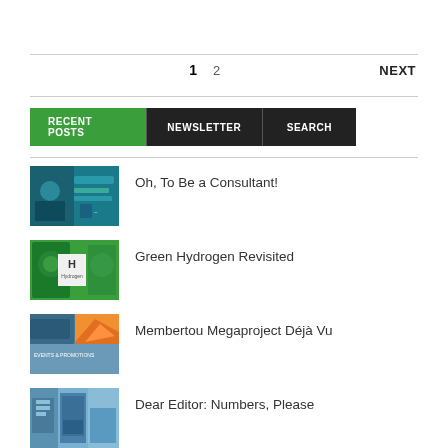1   2                                          NEXT
[Figure (screenshot): Tab bar with three tabs: RECENT POSTS (green), NEWSLETTER (black), SEARCH (black)]
[Figure (photo): Thumbnail image for Oh, To Be a Consultant! - teal/dark colored blog post image]
Oh, To Be a Consultant!
[Figure (photo): Thumbnail image for Green Hydrogen Revisited - green background with periodic element H]
Green Hydrogen Revisited
[Figure (photo): Thumbnail image for Membertou Megaproject Déjà Vu - aerial/collage image]
Membertou Megaproject Déjà Vu
[Figure (photo): Thumbnail image for Dear Editor: Numbers, Please - street/urban scene]
Dear Editor: Numbers, Please